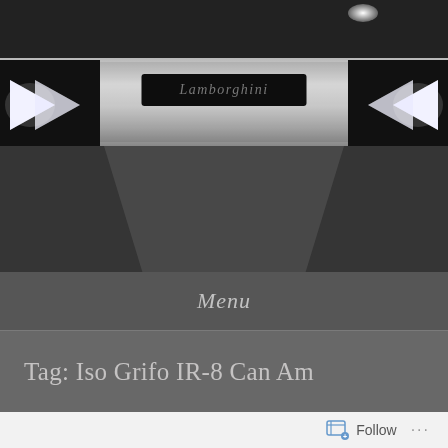[Figure (photo): Close-up photo of a Lamborghini front end showing the Lamborghini badge in the center of a silver/chrome grille bar, with angular LED DRL arrow-shaped headlights on each side, set against a dark body panel. The image shows distinctive angular design elements.]
Menu
Tag: Iso Grifo IR-8 Can Am
Follow  ...